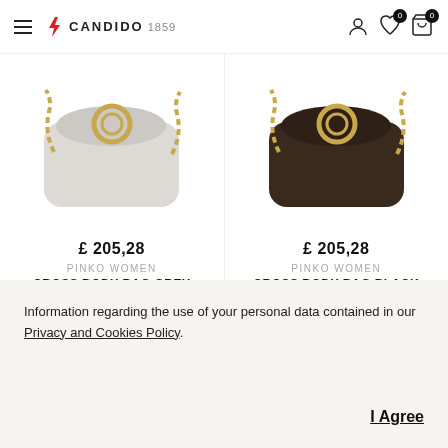CANDIDO 1859 — navigation header with hamburger menu, logo, user icon, wishlist (0), cart (0)
[Figure (photo): Grey cross body bag with gold chain hardware on white background]
£ 205,28
PINKO WOMEN
CROSS BODY BAG GREY
[Figure (photo): Black/dark brown cross body bag with gold chain hardware on white background]
£ 205,28
PINKO WOMEN
CROSS BODY BAG BLACK
Information regarding the use of your personal data contained in our Privacy and Cookies Policy.
I Agree